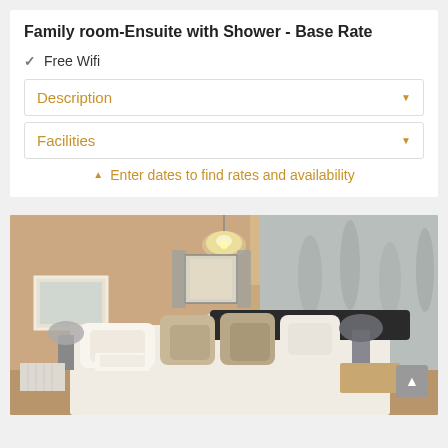Family room-Ensuite with Shower - Base Rate
Free Wifi
Description
Facilities
Enter dates to find rates and availability
[Figure (photo): Hotel bedroom with double bed, decorative wallpaper on right wall, chandelier light, framed artwork on left wall, and a window with curtains in the background.]